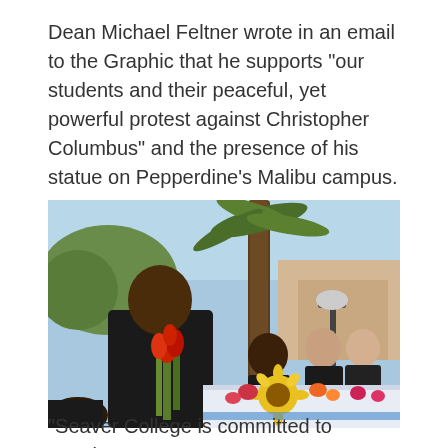Dean Michael Feltner wrote in an email to the Graphic that he supports "our students and their peaceful, yet powerful protest against Christopher Columbus" and the presence of his statue on Pepperdine's Malibu campus.
[Figure (photo): Outdoor photo of students at a table with flowers during a protest event on a sunny campus. A young man in a black t-shirt holds a bouquet of red gladiolus flowers. Other students are visible in the background near a table covered with sunflowers and colorful blooms. A palm tree and buildings are visible in the background.]
"Seaver College is committed to creating a campus